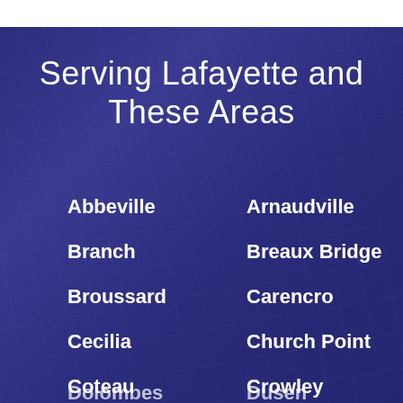Serving Lafayette and These Areas
Abbeville
Arnaudville
Branch
Breaux Bridge
Broussard
Carencro
Cecilia
Church Point
Coteau
Crowley
Dolombes (partial)
Dusen (partial)